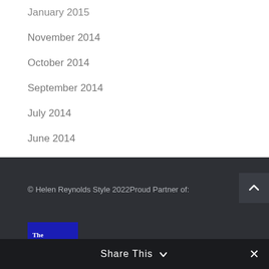January 2015
November 2014
October 2014
September 2014
July 2014
June 2014
May 2014
April 2014
© Helen Reynolds Style 2022Proud Partner of:
[Figure (logo): The Hunger Project logo - blue background with white serif text 'The Hunger Project.' and teal banner reading 'UNITED KINGDOM']
Share This